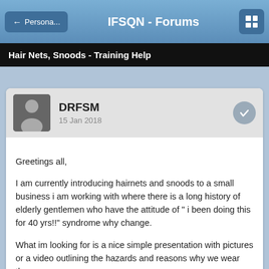← Persona...    IFSQN - Forums    [grid icon]
Hair Nets, Snoods - Training Help
DRFSM
15 Jan 2018
Greetings all,

I am currently introducing hairnets and snoods to a small business i am working with where there is a long history of elderly gentlemen who have the attitude of " i been doing this for 40 yrs!!" syndrome why change.

What im looking for is a nice simple presentation with pictures  or a video outlining the hazards and reasons why we wear them.

Really appreciate if anyone can point me in the direction for a tool such as this or have links to where i can find one..